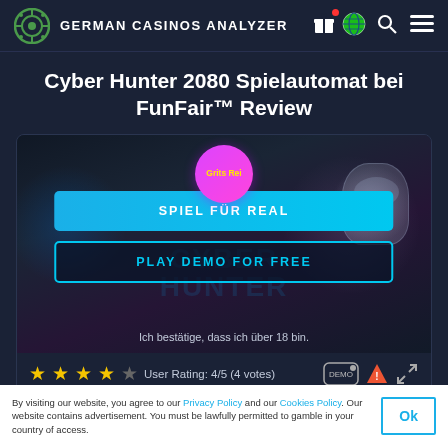GERMAN CASINOS ANALYZER
Cyber Hunter 2080 Spielautomat bei FunFair™ Review
[Figure (screenshot): Game preview screenshot of Cyber Hunter 2080 slot machine with a pink/purple badge showing 'Gratis Rei', a blue 'SPIEL FÜR REAL' button, a 'PLAY DEMO FOR FREE' button with cyan border, and text 'Ich bestätige, dass ich über 18 bin.']
User Rating: 4/5 (4 votes)
By visiting our website, you agree to our Privacy Policy and our Cookies Policy. Our website contains advertisement. You must be lawfully permitted to gamble in your country of access.